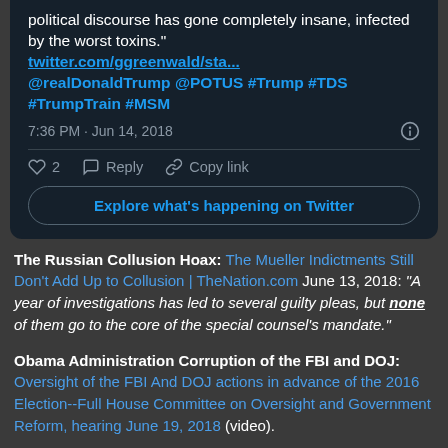[Figure (screenshot): Twitter/X tweet card screenshot showing tweet content, timestamp, like count, reply, copy link actions, and Explore button]
The Russian Collusion Hoax: The Mueller Indictments Still Don't Add Up to Collusion | TheNation.com June 13, 2018: "A year of investigations has led to several guilty pleas, but none of them go to the core of the special counsel's mandate."
Obama Administration Corruption of the FBI and DOJ: Oversight of the FBI And DOJ actions in advance of the 2016 Election--Full House Committee on Oversight and Government Reform, hearing June 19, 2018 (video).